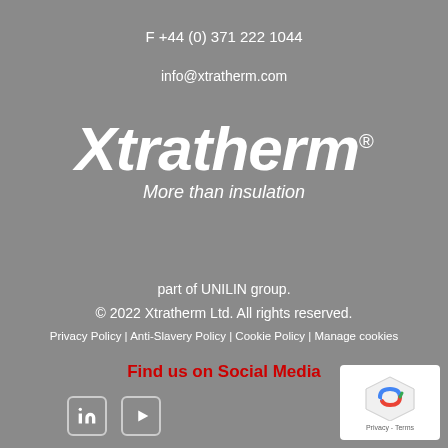F +44 (0) 371 222 1044
info@xtratherm.com
[Figure (logo): Xtratherm logo in white italic bold font with registered trademark symbol, tagline 'More than insulation' below]
part of UNILIN group.
© 2022 Xtratherm Ltd. All rights reserved.
Privacy Policy | Anti-Slavery Policy | Cookie Policy | Manage cookies
Find us on Social Media
[Figure (other): Social media icons: LinkedIn and YouTube in rounded square borders]
[Figure (other): reCAPTCHA badge with blue/red shield logo and Privacy - Terms text]